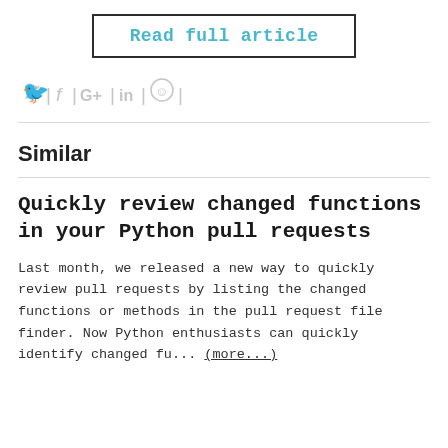Read full article
[Figure (other): Social sharing icons: Twitter, Facebook, Google+, LinkedIn, Reddit]
Similar
Quickly review changed functions in your Python pull requests
Last month, we released a new way to quickly review pull requests by listing the changed functions or methods in the pull request file finder. Now Python enthusiasts can quickly identify changed fu... (more...)